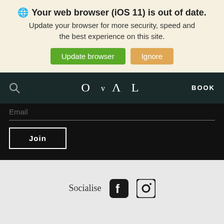🌐 Your web browser (iOS 11) is out of date. Update your browser for more security, speed and the best experience on this site. [Update browser] [Ignore]
[Figure (screenshot): Dark navigation bar with search icon, OVAL logo, and BOOK text]
Email
Join
Socialise (Facebook and Instagram icons)